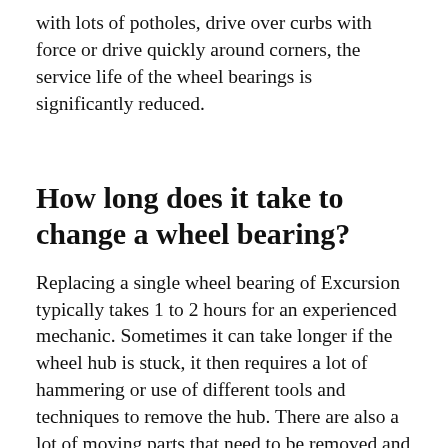with lots of potholes, drive over curbs with force or drive quickly around corners, the service life of the wheel bearings is significantly reduced.
How long does it take to change a wheel bearing?
Replacing a single wheel bearing of Excursion typically takes 1 to 2 hours for an experienced mechanic. Sometimes it can take longer if the wheel hub is stuck, it then requires a lot of hammering or use of different tools and techniques to remove the hub. There are also a lot of moving parts that need to be removed and then properly reinstalled to complete the